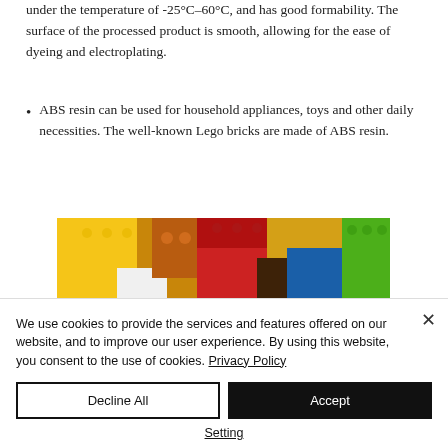under the temperature of -25°C–60°C, and has good formability. The surface of the processed product is smooth, allowing for the ease of dyeing and electroplating.
ABS resin can be used for household appliances, toys and other daily necessities. The well-known Lego bricks are made of ABS resin.
[Figure (photo): Colorful Lego bricks piled together, showing various colors including yellow, red, blue, green, white, and brown.]
We use cookies to provide the services and features offered on our website, and to improve our user experience. By using this website, you consent to the use of cookies. Privacy Policy
Decline All
Accept
Setting